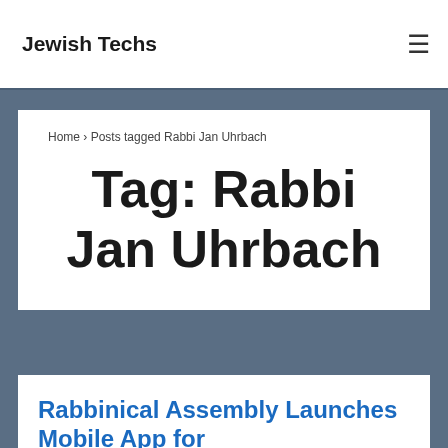Jewish Techs
Home › Posts tagged Rabbi Jan Uhrbach
Tag: Rabbi Jan Uhrbach
Rabbinical Assembly Launches Mobile App for